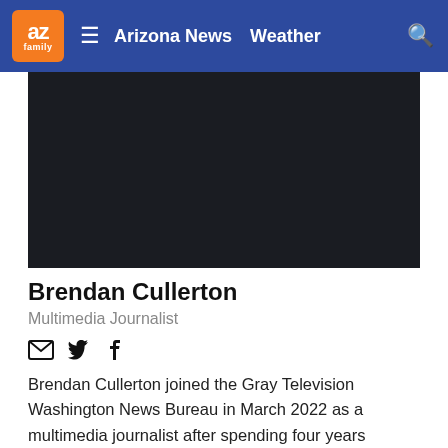az family | Arizona News  Weather
[Figure (screenshot): Dark/black video player area embedded in the page]
Brendan Cullerton
Multimedia Journalist
[Figure (infographic): Social media icons: email, Twitter, Facebook]
Brendan Cullerton joined the Gray Television Washington News Bureau in March 2022 as a multimedia journalist after spending four years covering state, local, and federal politics for the CBS affiliate in